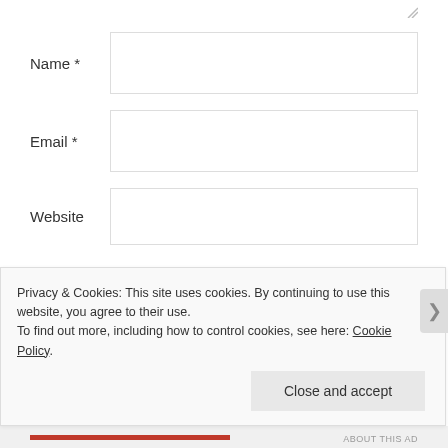Name *
Email *
Website
POST COMMENT
Notify me of new comments via email.
Notify me of new posts via email.
Privacy & Cookies: This site uses cookies. By continuing to use this website, you agree to their use.
To find out more, including how to control cookies, see here: Cookie Policy
Close and accept